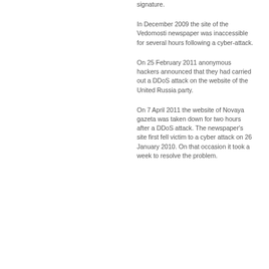signature.
In December 2009 the site of the Vedomosti newspaper was inaccessible for several hours following a cyber-attack.
On 25 February 2011 anonymous hackers announced that they had carried out a DDoS attack on the website of the United Russia party.
On 7 April 2011 the website of Novaya gazeta was taken down for two hours after a DDoS attack. The newspaper's site first fell victim to a cyber attack on 26 January 2010. On that occasion it took a week to resolve the problem.